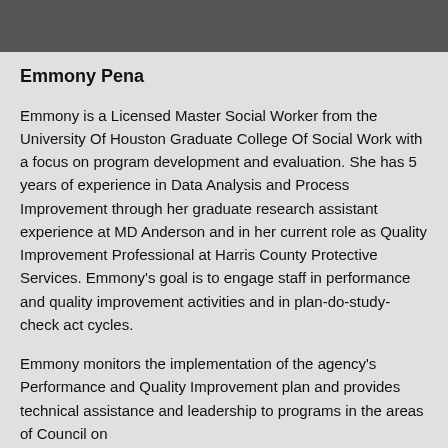[Figure (photo): Photo banner showing a group of people, partially cropped at the top of the page]
Emmony Pena
Emmony is a Licensed Master Social Worker from the University Of Houston Graduate College Of Social Work with a focus on program development and evaluation. She has 5 years of experience in Data Analysis and Process Improvement through her graduate research assistant experience at MD Anderson and in her current role as Quality Improvement Professional at Harris County Protective Services. Emmony's goal is to engage staff in performance and quality improvement activities and in plan-do-study-check act cycles.
Emmony monitors the implementation of the agency's Performance and Quality Improvement plan and provides technical assistance and leadership to programs in the areas of Council on